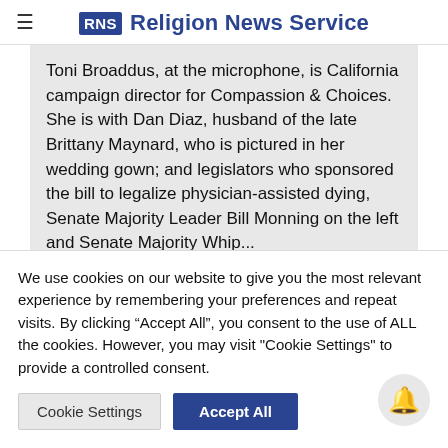RNS Religion News Service
Toni Broaddus, at the microphone, is California campaign director for Compassion & Choices. She is with Dan Diaz, husband of the late Brittany Maynard, who is pictured in her wedding gown; and legislators who sponsored the bill to legalize physician-assisted dying, Senate Majority Leader Bill Monning on the left and Senate Majority Whip...
We use cookies on our website to give you the most relevant experience by remembering your preferences and repeat visits. By clicking "Accept All", you consent to the use of ALL the cookies. However, you may visit "Cookie Settings" to provide a controlled consent.